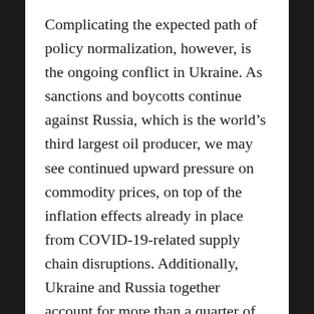Complicating the expected path of policy normalization, however, is the ongoing conflict in Ukraine. As sanctions and boycotts continue against Russia, which is the world's third largest oil producer, we may see continued upward pressure on commodity prices, on top of the inflation effects already in place from COVID-19-related supply chain disruptions. Additionally, Ukraine and Russia together account for more than a quarter of global trade of wheat. The conflict has closed major ports in Ukraine and severed logistics and